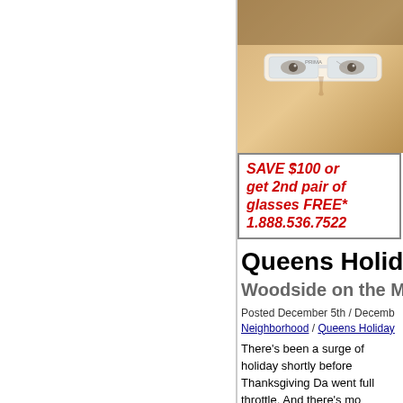[Figure (photo): Photo of a person wearing white glasses/frames, cropped close to the face, warm toned background]
SAVE $100 or get 2nd pair of glasses FREE* 1.888.536.7522
Queens Holida
Woodside on the M
Posted December 5th / Decemb
Neighborhood / Queens Holiday
There's been a surge of holiday shortly before Thanksgiving Da went full throttle. And there's mo
The temperatures were unseas near 60 degrees on late Saturda Woodside to cover the Woodsi tree lighting. As I approached S gathered along Woodside Aven the street had been blocked, an